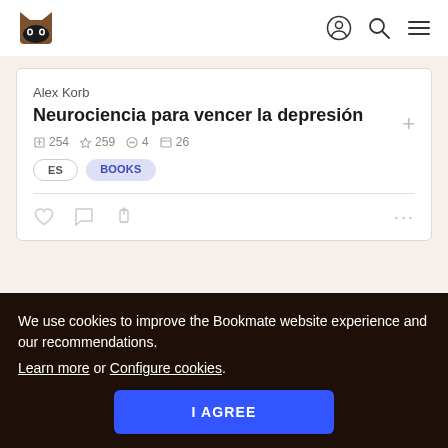Bookmate logo, user icon, search icon, menu icon
Alex Korb
Neurociencia para vencer la depresión
254 259 4 26
ES  BOOKS
We use cookies to improve the Bookmate website experience and our recommendations. Learn more or Configure cookies.
I AGREE